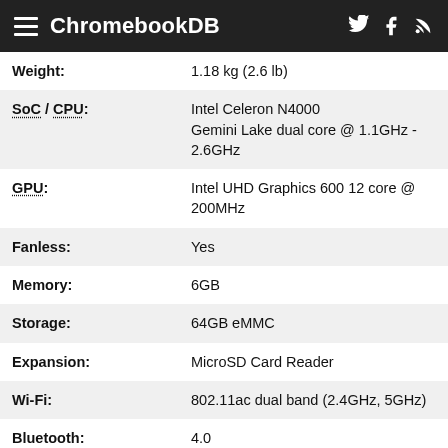ChromebookDB
| Spec | Value |
| --- | --- |
| Weight: | 1.18 kg (2.6 lb) |
| SoC / CPU: | Intel Celeron N4000
Gemini Lake dual core @ 1.1GHz - 2.6GHz |
| GPU: | Intel UHD Graphics 600 12 core @ 200MHz |
| Fanless: | Yes |
| Memory: | 6GB |
| Storage: | 64GB eMMC |
| Expansion: | MicroSD Card Reader |
| Wi-Fi: | 802.11ac dual band (2.4GHz, 5GHz) |
| Bluetooth: | 4.0 |
| Multimedia: | 1MP Webcam
Microphone |
| Ports: | 3.5mm Headset Jack
USB 3.0
USB 3.0 Type C |
| Colors: | Gray |